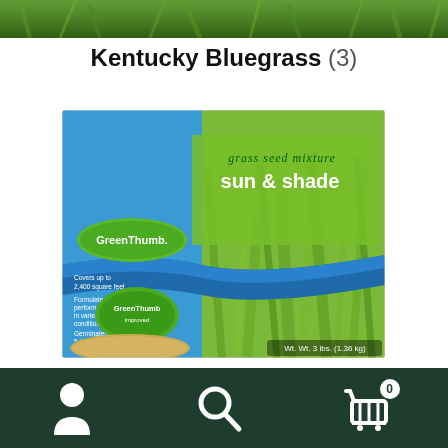[Figure (photo): Top strip showing grass/lawn close-up photo]
Kentucky Bluegrass (3)
[Figure (photo): GreenThumb grass seed mixture sun & shade product package, 3 lbs (1.36 kg)]
Lawn Turf (4)
Bottom navigation bar with user, search, and cart (0) icons